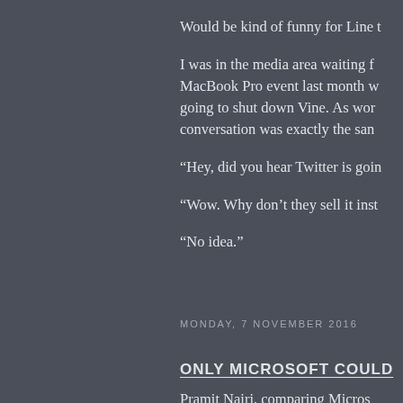Would be kind of funny for Line t
I was in the media area waiting f MacBook Pro event last month w going to shut down Vine. As wor conversation was exactly the san
“Hey, did you hear Twitter is goin
“Wow. Why don’t they sell it inst
“No idea.”
MONDAY, 7 NOVEMBER 2016
ONLY MICROSOFT COULD
Pramit Nairi, comparing Micros